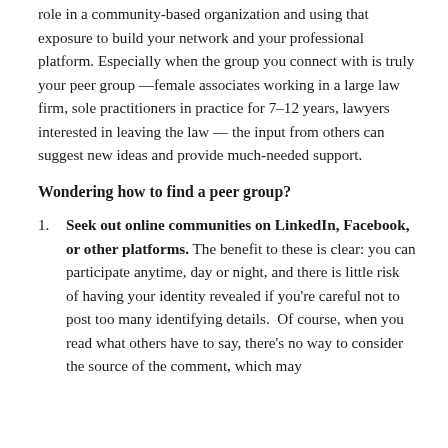role in a community-based organization and using that exposure to build your network and your professional platform. Especially when the group you connect with is truly your peer group —female associates working in a large law firm, sole practitioners in practice for 7–12 years, lawyers interested in leaving the law — the input from others can suggest new ideas and provide much-needed support.
Wondering how to find a peer group?
Seek out online communities on LinkedIn, Facebook, or other platforms. The benefit to these is clear: you can participate anytime, day or night, and there is little risk of having your identity revealed if you're careful not to post too many identifying details. Of course, when you read what others have to say, there's no way to consider the source of the comment, which may